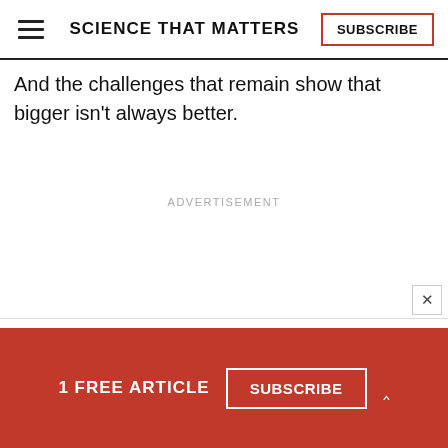SCIENCE THAT MATTERS | SUBSCRIBE
And the challenges that remain show that bigger isn't always better.
ADVERTISEMENT
1 FREE ARTICLE  SUBSCRIBE